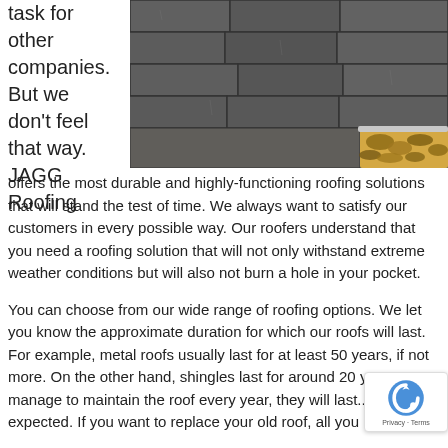task for other companies. But we don't feel that way. JAGG Roofing
[Figure (photo): Close-up photo of dark gray asphalt shingles on a roof with a gutter filled with fallen leaves visible at the bottom right]
offers the most durable and highly-functioning roofing solutions that will stand the test of time. We always want to satisfy our customers in every possible way. Our roofers understand that you need a roofing solution that will not only withstand extreme weather conditions but will also not burn a hole in your pocket.
You can choose from our wide range of roofing options. We let you know the approximate duration for which our roofs will last. For example, metal roofs usually last for at least 50 years, if not more. On the other hand, shingles last for around 20 yea... you manage to maintain the roof every year, they will last... than expected. If you want to replace your old roof, all you have